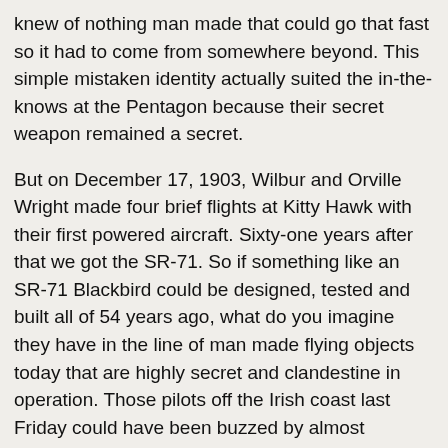knew of nothing man made that could go that fast so it had to come from somewhere beyond. This simple mistaken identity actually suited the in-the-knows at the Pentagon because their secret weapon remained a secret.
But on December 17, 1903, Wilbur and Orville Wright made four brief flights at Kitty Hawk with their first powered aircraft. Sixty-one years after that we got the SR-71. So if something like an SR-71 Blackbird could be designed, tested and built all of 54 years ago, what do you imagine they have in the line of man made flying objects today that are highly secret and clandestine in operation. Those pilots off the Irish coast last Friday could have been buzzed by almost anything and in fact, when in doubt, blame the Russians. Why not? Apparently they are responsible for almost everything else and they are pretty handy around aircraft design too. Mind you, if you prefer, perhaps it was the little green men that mankind became obsessed with in the fifties and sixties. Some may ask though, why Ireland of all places, I can only